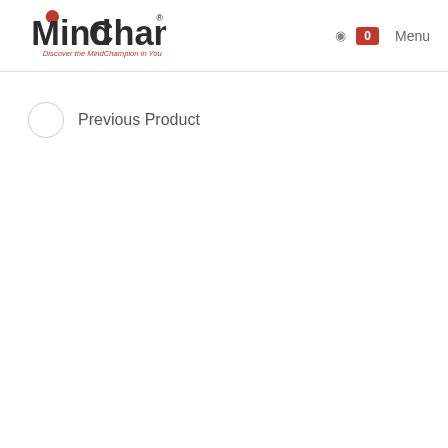MindChamps — Discover the MindChampion in You
Previous Product